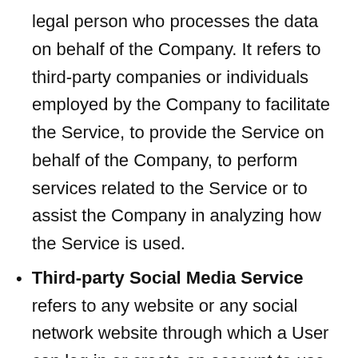legal person who processes the data on behalf of the Company. It refers to third-party companies or individuals employed by the Company to facilitate the Service, to provide the Service on behalf of the Company, to perform services related to the Service or to assist the Company in analyzing how the Service is used.
Third-party Social Media Service refers to any website or any social network website through which a User can log in or create an account to use the Service.
Usage Data refers to data collected automatically, either generated by the...